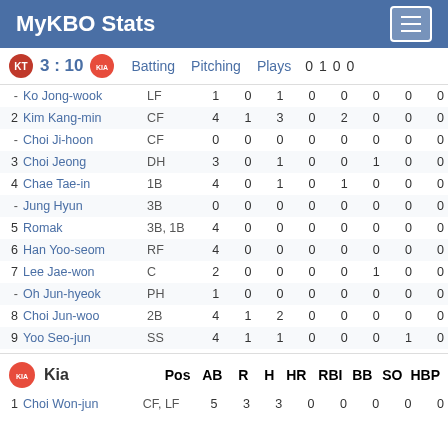MyKBO Stats
3 : 10  Batting  Pitching  Plays  0  1  0  0
| # | Player | Pos | AB | R | H | HR | RBI | BB | SO | HBP |
| --- | --- | --- | --- | --- | --- | --- | --- | --- | --- | --- |
| - | Ko Jong-wook | LF | 1 | 0 | 1 | 0 | 0 | 0 | 0 | 0 |
| 2 | Kim Kang-min | CF | 4 | 1 | 3 | 0 | 2 | 0 | 0 | 0 |
| - | Choi Ji-hoon | CF | 0 | 0 | 0 | 0 | 0 | 0 | 0 | 0 |
| 3 | Choi Jeong | DH | 3 | 0 | 1 | 0 | 0 | 1 | 0 | 0 |
| 4 | Chae Tae-in | 1B | 4 | 0 | 1 | 0 | 1 | 0 | 0 | 0 |
| - | Jung Hyun | 3B | 0 | 0 | 0 | 0 | 0 | 0 | 0 | 0 |
| 5 | Romak | 3B, 1B | 4 | 0 | 0 | 0 | 0 | 0 | 0 | 0 |
| 6 | Han Yoo-seom | RF | 4 | 0 | 0 | 0 | 0 | 0 | 0 | 0 |
| 7 | Lee Jae-won | C | 2 | 0 | 0 | 0 | 0 | 1 | 0 | 0 |
| - | Oh Jun-hyeok | PH | 1 | 0 | 0 | 0 | 0 | 0 | 0 | 0 |
| 8 | Choi Jun-woo | 2B | 4 | 1 | 2 | 0 | 0 | 0 | 0 | 0 |
| 9 | Yoo Seo-jun | SS | 4 | 1 | 1 | 0 | 0 | 0 | 1 | 0 |
Kia  Pos  AB  R  H  HR  RBI  BB  SO  HBP
| # | Player | Pos | AB | R | H | HR | RBI | BB | SO | HBP |
| --- | --- | --- | --- | --- | --- | --- | --- | --- | --- | --- |
| 1 | Choi Won-jun | CF, LF | 5 | 3 | 3 | 0 | 0 | 0 | 0 | 0 |